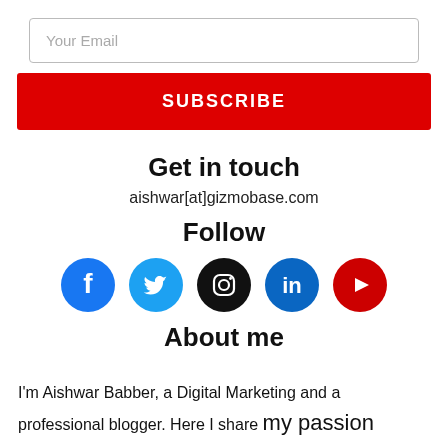Your Email
SUBSCRIBE
Get in touch
aishwar[at]gizmobase.com
Follow
[Figure (infographic): Social media icons: Facebook, Twitter, Instagram, LinkedIn, YouTube]
About me
I'm Aishwar Babber, a Digital Marketing and a professional blogger. Here I share my passion about blogging